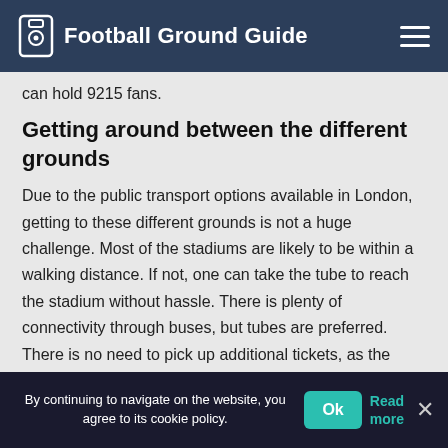Football Ground Guide
can hold 9215 fans.
Getting around between the different grounds
Due to the public transport options available in London, getting to these different grounds is not a huge challenge. Most of the stadiums are likely to be within a walking distance. If not, one can take the tube to reach the stadium without hassle. There is plenty of connectivity through buses, but tubes are preferred. There is no need to pick up additional tickets, as the Oyster transport card will be able to allow tube rides. There are plenty of apps available to plan the journeys while a London football ground map would also be
By continuing to navigate on the website, you agree to its cookie policy. Ok Read more ×